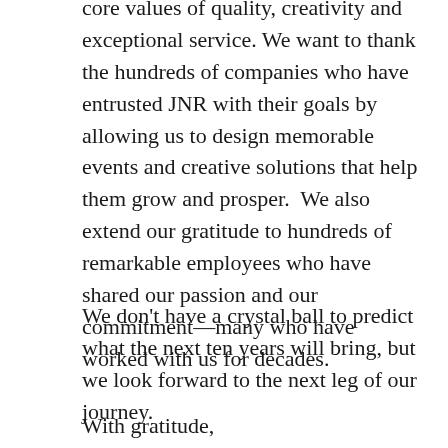core values of quality, creativity and exceptional service. We want to thank the hundreds of companies who have entrusted JNR with their goals by allowing us to design memorable events and creative solutions that help them grow and prosper.  We also extend our gratitude to hundreds of remarkable employees who have shared our passion and our commitment—many who have worked with us for decades.
We don't have a crystal ball to predict what the next ten years will bring, but we look forward to the next leg of our journey.
With gratitude,